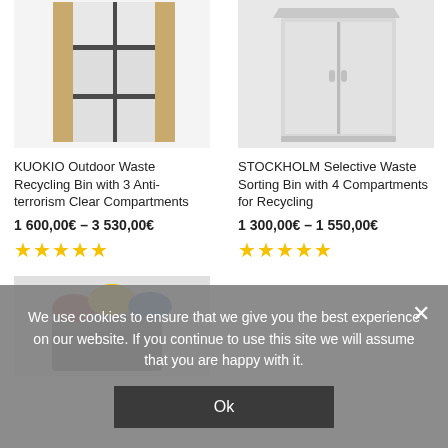[Figure (photo): KUOKIO Outdoor Waste Recycling Bin with 3 Anti-terrorism Clear Compartments - bookshelf style unit with wood and dark metal frame]
[Figure (photo): STOCKHOLM Selective Waste Sorting Bin with 4 Compartments for Recycling - light grey cabinet with sliding doors]
KUOKIO Outdoor Waste Recycling Bin with 3 Anti-terrorism Clear Compartments
1 600,00€ – 3 530,00€
★★★★★
STOCKHOLM Selective Waste Sorting Bin with 4 Compartments for Recycling
1 300,00€ – 1 550,00€
★★★★★
[Figure (photo): Third product - dark grey recycling bin with colored lids (yellow, blue, red) partially visible]
We use cookies to ensure that we give you the best experience on our website. If you continue to use this site we will assume that you are happy with it.